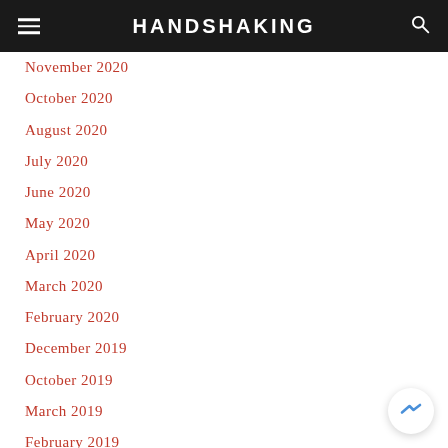HANDSHAKING
November 2020
October 2020
August 2020
July 2020
June 2020
May 2020
April 2020
March 2020
February 2020
December 2019
October 2019
March 2019
February 2019
January 2019
December 2018
October 2018
August 2018
June 2018
May 2018